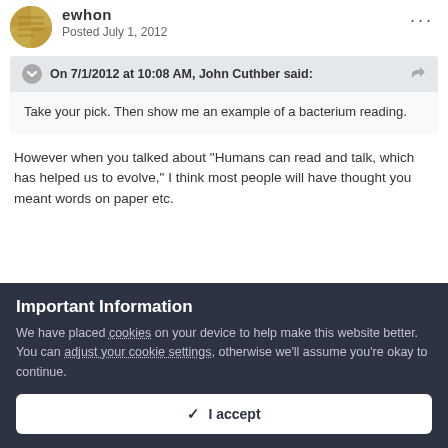ewhon
Posted July 1, 2012
On 7/1/2012 at 10:08 AM, John Cuthber said:
Take your pick. Then show me an example of a bacterium reading.
However when you talked about "Humans can read and talk, which has helped us to evolve," I think most people will have thought you meant words on paper etc.
Important Information
We have placed cookies on your device to help make this website better. You can adjust your cookie settings, otherwise we'll assume you're okay to continue.
I accept